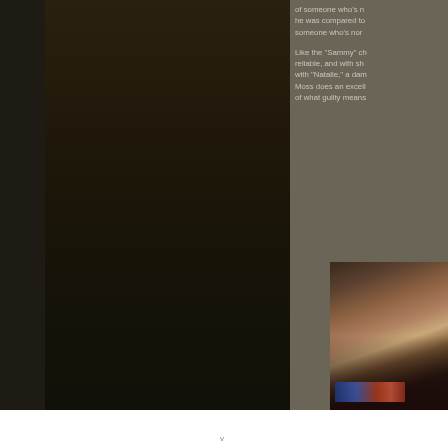[Figure (photo): Dark background image panel on the left side of the page, appears to be a dark-toned photographic content]
of someone who's n... he was compared to... someone who's nor... Like the "Sammy" ch... reliable, and with sh... with "Natalie," a dam... Moss does an excell... of what guilty means...
[Figure (photo): Close-up photo of a person (likely an actor/actress) with brown hair, partially visible, dark background with colored lights]